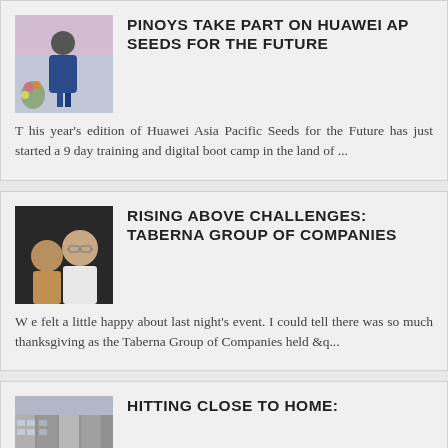[Figure (photo): Man in blue suit standing at a podium with flowers, colorful background]
PINOYS TAKE PART ON HUAWEI AP SEEDS FOR THE FUTURE
T his year's edition of Huawei Asia Pacific Seeds for the Future has just started a 9 day training and digital boot camp in the land of ...
[Figure (photo): Two people, a woman and a man with glasses, at an event]
RISING ABOVE CHALLENGES: TABERNA GROUP OF COMPANIES
W e felt a little happy about last night's event. I could tell there was so much thanksgiving as the Taberna Group of Companies held &q...
[Figure (photo): Building exterior, partially visible]
HITTING CLOSE TO HOME: